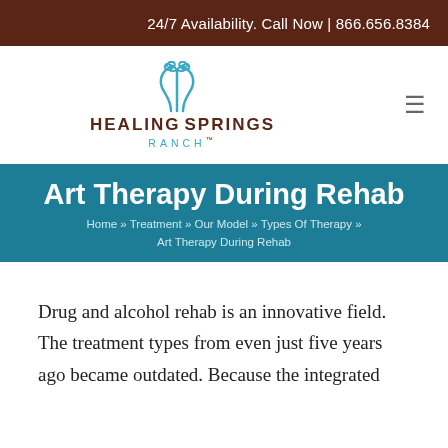24/7 Availability. Call Now | 866.656.8384
[Figure (logo): Healing Springs Ranch logo with teal decorative swirl icon above the text HEALING SPRINGS RANCH]
Art Therapy During Rehab
Home » Treatment » Our Model » Types Of Therapy » Art Therapy During Rehab
Drug and alcohol rehab is an innovative field. The treatment types from even just five years ago became outdated. Because the integrated